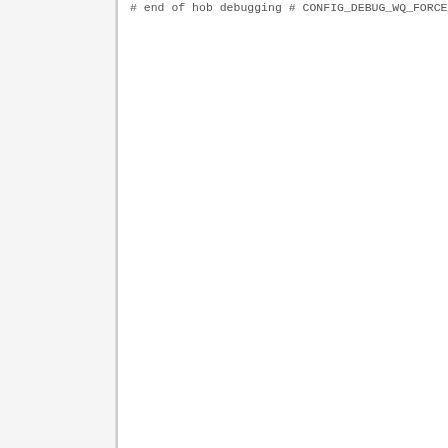[Figure (screenshot): Code/configuration file viewer showing Linux kernel config options. Left panel is a light gray sidebar. Right panel displays monospace config entries starting with a truncated comment line '# end of hob debugging', followed by commented-out CONFIG entries and many CONFIG_*=y lines related to tracing, ftrace, and debugging.]